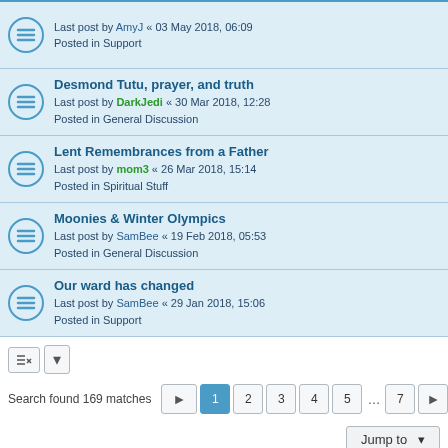Desmond Tutu, prayer, and truth
Last post by DarkJedi « 30 Mar 2018, 12:28
Posted in General Discussion
Lent Remembrances from a Father
Last post by mom3 « 26 Mar 2018, 15:14
Posted in Spiritual Stuff
Moonies & Winter Olympics
Last post by SamBee « 19 Feb 2018, 05:53
Posted in General Discussion
Our ward has changed
Last post by SamBee « 29 Jan 2018, 15:06
Posted in Support
Search found 169 matches
Board index | Contact us | Delete cookies | All times are UTC-07:00
Powered by phpBB® Forum Software © phpBB Limited
Privacy | Terms